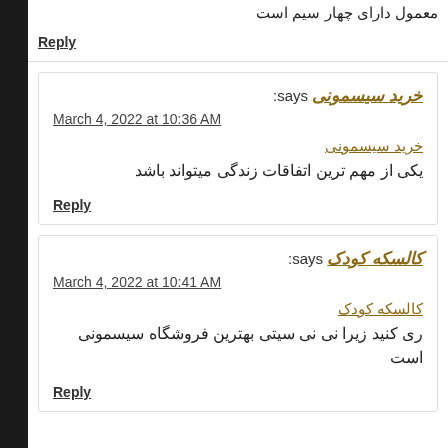معمول دارای چهار سیم است
Reply
خرید سیسمونی says:
March 4, 2022 at 10:36 AM
خرید سیسمونی
یکی از مهم ترین اتفاقات زندگی میتواند باشد
Reply
کالسکه کودک says:
March 4, 2022 at 10:41 AM
کالسکه کودک
ری کنید زیرا نی نی سیتی بهترین فروشگاه سیسمونی است
Reply